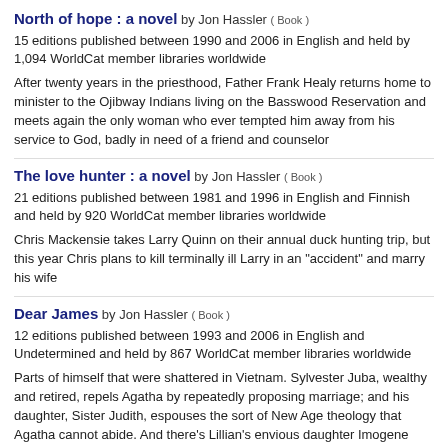North of hope : a novel by Jon Hassler ( Book )
15 editions published between 1990 and 2006 in English and held by 1,094 WorldCat member libraries worldwide
After twenty years in the priesthood, Father Frank Healy returns home to minister to the Ojibway Indians living on the Basswood Reservation and meets again the only woman who ever tempted him away from his service to God, badly in need of a friend and counselor
The love hunter : a novel by Jon Hassler ( Book )
21 editions published between 1981 and 1996 in English and Finnish and held by 920 WorldCat member libraries worldwide
Chris Mackensie takes Larry Quinn on their annual duck hunting trip, but this year Chris plans to kill terminally ill Larry in an "accident" and marry his wife
Dear James by Jon Hassler ( Book )
12 editions published between 1993 and 2006 in English and Undetermined and held by 867 WorldCat member libraries worldwide
Parts of himself that were shattered in Vietnam. Sylvester Juba, wealthy and retired, repels Agatha by repeatedly proposing marriage; and his daughter, Sister Judith, espouses the sort of New Age theology that Agatha cannot abide. And there's Lillian's envious daughter Imogene Kite, whose ambition is to betray Agatha and destroy her reputation. And so, fleeing from her unhappiness at home, Agatha sets off on a pilgrimage to Italy, unaware that her old soulmate and